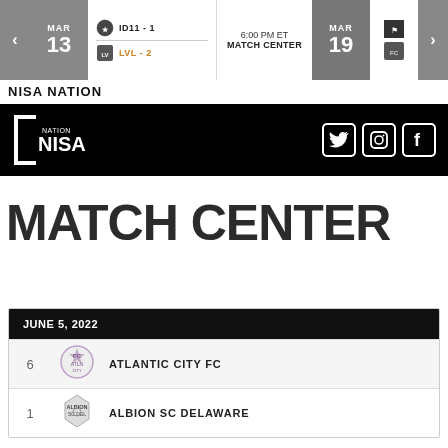[Figure (screenshot): Top navigation bar with MAR 13 date on left (gray), ID11-1 and LVL-2 team matchup, 6:00 PM ET MATCH CENTER text, MAR 19 date on right (gray), team icons, and arrow navigation buttons]
NISA NATION
[Figure (logo): NISA Nation logo on black background with Twitter, Instagram, and Facebook social media icons on right]
MATCH CENTER
| JUNE 5, 2022 |  |  |
| --- | --- | --- |
| 6 | [Atlantic City FC logo] | ATLANTIC CITY FC |
| 1 | [Albion SC Delaware logo] | ALBION SC DELAWARE |